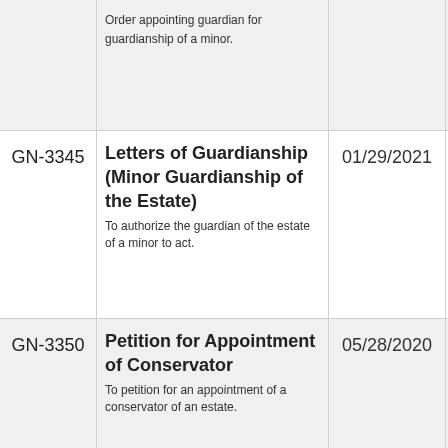| Form | Description | Date | Action |
| --- | --- | --- | --- |
|  | Order appointing guardian for guardianship of a minor. |  | Su
En |
| GN-3345 | Letters of Guardianship (Minor Guardianship of the Estate)
To authorize the guardian of the estate of a minor to act. | 01/29/2021 | ☐ En
☐ En
☐ Su
En |
| GN-3350 | Petition for Appointment of Conservator
To petition for an appointment of a conservator of an estate. | 05/28/2020 | ☐ En
☐ En
☐ Su
En |